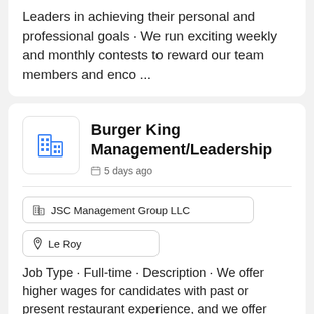Leaders in achieving their personal and professional goals · We run exciting weekly and monthly contests to reward our team members and enco ...
Burger King Management/Leadership
5 days ago
JSC Management Group LLC
Le Roy
Job Type · Full-time · Description · We offer higher wages for candidates with past or present restaurant experience, and we offer world-class